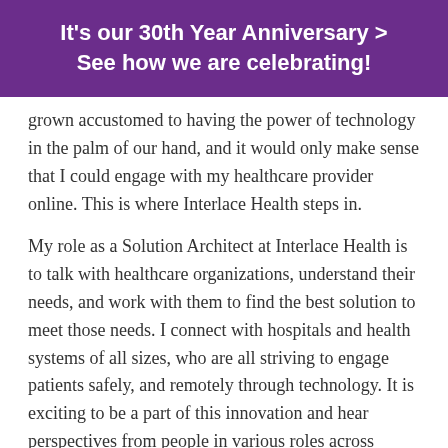It's our 30th Year Anniversary > See how we are celebrating!
grown accustomed to having the power of technology in the palm of our hand, and it would only make sense that I could engage with my healthcare provider online. This is where Interlace Health steps in.
My role as a Solution Architect at Interlace Health is to talk with healthcare organizations, understand their needs, and work with them to find the best solution to meet those needs. I connect with hospitals and health systems of all sizes, who are all striving to engage patients safely, and remotely through technology. It is exciting to be a part of this innovation and hear perspectives from people in various roles across different areas of healthcare organizations. I wanted to